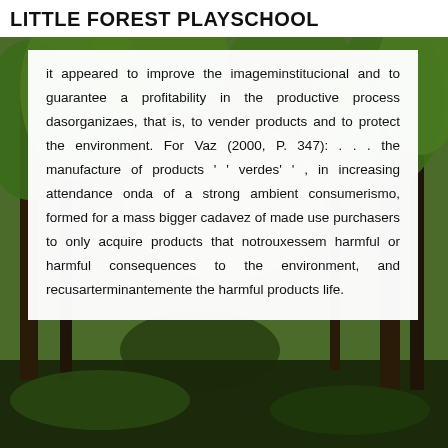LITTLE FOREST PLAYSCHOOL
[Figure (photo): Forest/woodland background photo with green trees and foliage]
it appeared to improve the imageminstitucional and to guarantee a profitability in the productive process dasorganizaes, that is, to vender products and to protect the environment. For Vaz (2000, P. 347): . . . the manufacture of products ' ' verdes' ' , in increasing attendance onda of a strong ambient consumerismo, formed for a mass bigger cadavez of made use purchasers to only acquire products that notrouxessem harmful or harmful consequences to the environment, and recusarterminantemente the harmful products life.